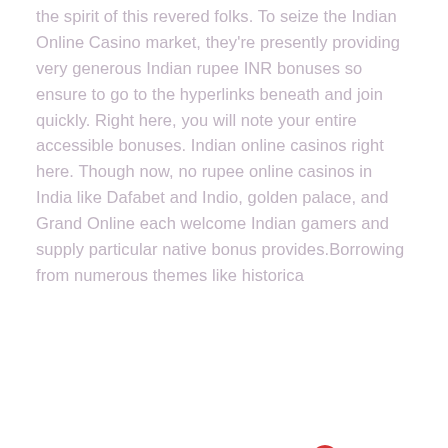the spirit of this revered folks. To seize the Indian Online Casino market, they're presently providing very generous Indian rupee INR bonuses so ensure to go to the hyperlinks beneath and join quickly. Right here, you will note your entire accessible bonuses. Indian online casinos right here. Though now, no rupee online casinos in India like Dafabet and Indio, golden palace, and Grand Online each welcome Indian gamers and supply particular native bonus provides.Borrowing from numerous themes like historica
[Figure (illustration): Red four-leaf clover / flower icon]
[Figure (photo): Interior of a casino with slot machines and colorful neon lighting, viewed from the aisle between machines]